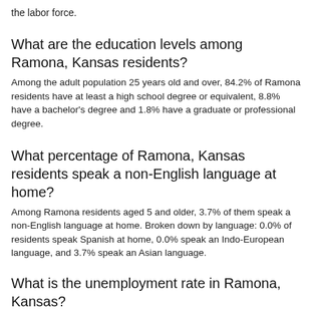the labor force.
What are the education levels among Ramona, Kansas residents?
Among the adult population 25 years old and over, 84.2% of Ramona residents have at least a high school degree or equivalent, 8.8% have a bachelor's degree and 1.8% have a graduate or professional degree.
What percentage of Ramona, Kansas residents speak a non-English language at home?
Among Ramona residents aged 5 and older, 3.7% of them speak a non-English language at home. Broken down by language: 0.0% of residents speak Spanish at home, 0.0% speak an Indo-European language, and 3.7% speak an Asian language.
What is the unemployment rate in Ramona, Kansas?